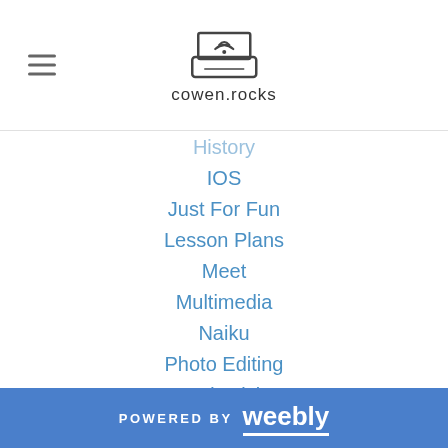cowen.rocks
History
IOS
Just For Fun
Lesson Plans
Meet
Multimedia
Naiku
Photo Editing
Productivity
Reading
Research
Science
Search
Sheets
Slides
Special Education
STEM
POWERED BY weebly